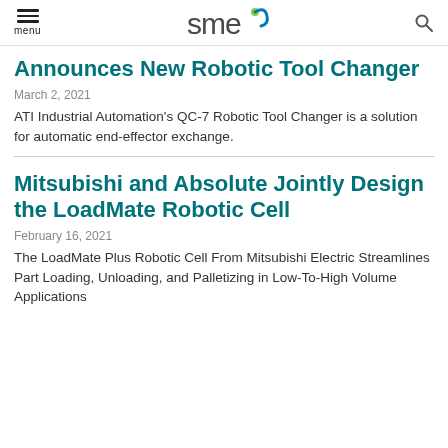menu | SME logo | search
Announces New Robotic Tool Changer
March 2, 2021
ATI Industrial Automation's QC-7 Robotic Tool Changer is a solution for automatic end-effector exchange.
Mitsubishi and Absolute Jointly Design the LoadMate Robotic Cell
February 16, 2021
The LoadMate Plus Robotic Cell From Mitsubishi Electric Streamlines Part Loading, Unloading, and Palletizing in Low-To-High Volume Applications